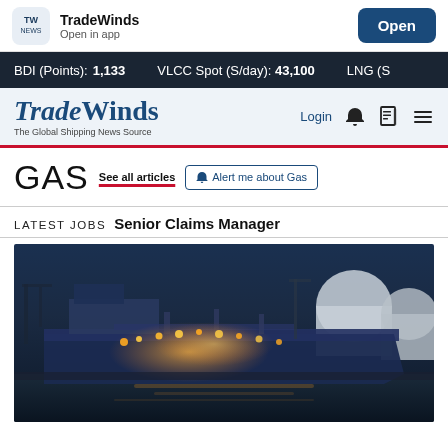TradeWinds — Open in app — Open
BDI (Points): 1,133   VLCC Spot (S/day): 43,100   LNG (S...
TradeWinds — The Global Shipping News Source
GAS
See all articles
🔔 Alert me about Gas
LATEST JOBS   Senior Claims Manager
[Figure (photo): Aerial night view of an LNG carrier ship docked at a port terminal with large white storage tanks and illuminated industrial facilities]